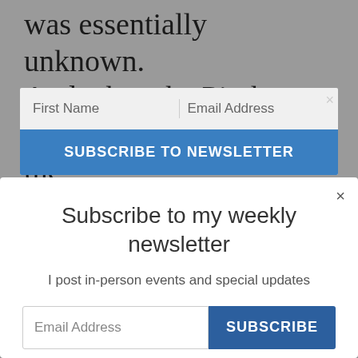was essentially unknown. And when the Piraha, a tribe that lives deep in the Amazon, were told about suicide they laughed
First Name | Email Address
SUBSCRIBE TO NEWSLETTER
Subscribe to my weekly newsletter
I post in-person events and special updates
Email Address
SUBSCRIBE
We won't send you spam. Unsubscribe at any time.
Powered by ConvertKit